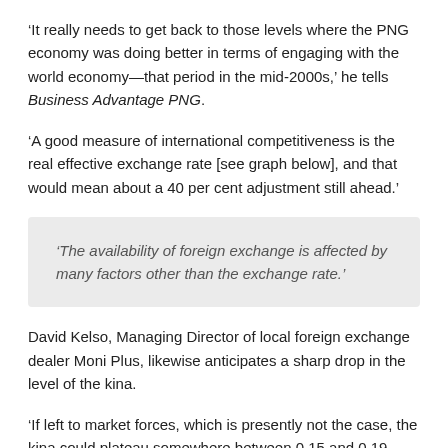‘It really needs to get back to those levels where the PNG economy was doing better in terms of engaging with the world economy—that period in the mid-2000s,’ he tells Business Advantage PNG.
‘A good measure of international competitiveness is the real effective exchange rate [see graph below], and that would mean about a 40 per cent adjustment still ahead.’
‘The availability of foreign exchange is affected by many factors other than the exchange rate.’
David Kelso, Managing Director of local foreign exchange dealer Moni Plus, likewise anticipates a sharp drop in the level of the kina.
‘If left to market forces, which is presently not the case, the kina could plateau somewhere between 0.15 and 0.19 against the US dollar—certainly in the ‘teens.